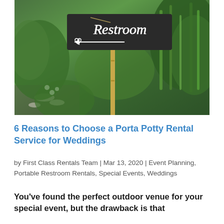[Figure (photo): Outdoor garden scene with a dark chalkboard-style sign on a bamboo pole reading 'Restroom' with a decorative arrow, surrounded by green plants and foliage.]
6 Reasons to Choose a Porta Potty Rental Service for Weddings
by First Class Rentals Team | Mar 13, 2020 | Event Planning, Portable Restroom Rentals, Special Events, Weddings
You've found the perfect outdoor venue for your special event, but the drawback is that